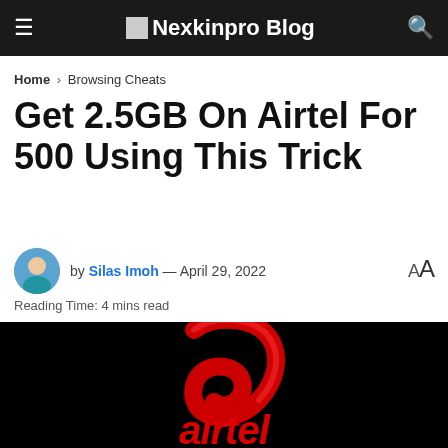Nexkinpro Blog
Home › Browsing Cheats
Get 2.5GB On Airtel For 500 Using This Trick
by Silas Imoh — April 29, 2022
Reading Time: 4 mins read
[Figure (photo): Airtel logo on black background showing the red curved checkmark/wave symbol above partial red italic 'airtel' text]